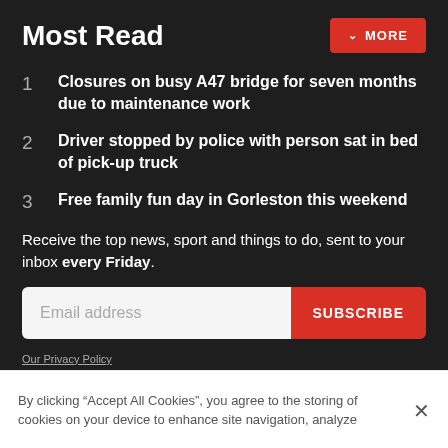Most Read
1  Closures on busy A47 bridge for seven months due to maintenance work
2  Driver stopped by police with person sat in bed of pick-up truck
3  Free family fun day in Gorleston this weekend
Receive the top news, sport and things to do, sent to your inbox every Friday.
Our Privacy Policy
By clicking “Accept All Cookies”, you agree to the storing of cookies on your device to enhance site navigation, analyze